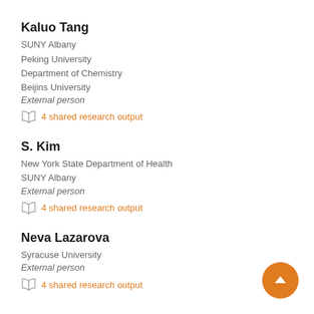Kaluo Tang
SUNY Albany
Peking University
Department of Chemistry
Beijins University
External person
4 shared research output
S. Kim
New York State Department of Health
SUNY Albany
External person
4 shared research output
Neva Lazarova
Syracuse University
External person
4 shared research output